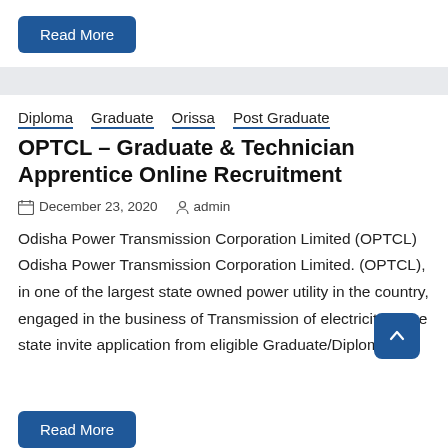Read More
Diploma  Graduate  Orissa  Post Graduate
OPTCL – Graduate & Technician Apprentice Online Recruitment
December 23, 2020   admin
Odisha Power Transmission Corporation Limited (OPTCL) Odisha Power Transmission Corporation Limited. (OPTCL), in one of the largest state owned power utility in the country, engaged in the business of Transmission of electricity in the state invite application from eligible Graduate/Diploma
Read More